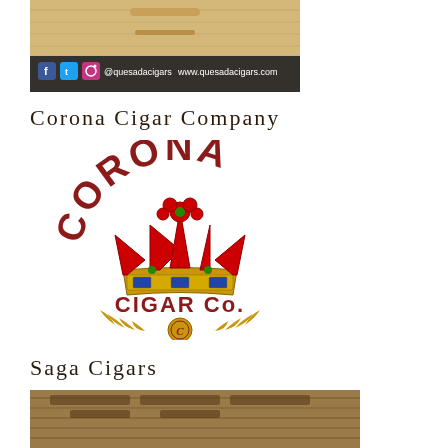[Figure (photo): Photo of cigar-related product with social media icons and URLs: @quesadacigars, www.quesadacigars.com]
Corona Cigar Company
[Figure (logo): Corona Cigar Co. logo with a decorative crown in red, gold, and green colors, text 'CORONA' arched on top and 'CIGAR Co.' below, with ornamental laurel design at bottom]
Saga Cigars
[Figure (photo): Photo of cigar-related items on a wooden surface]